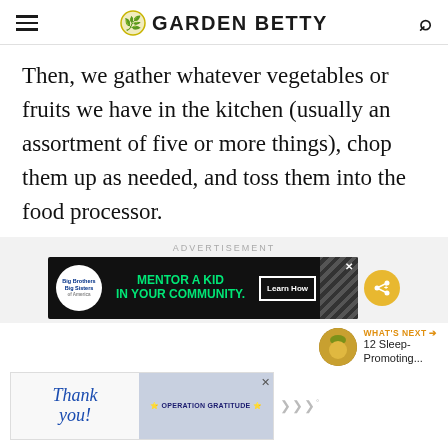GARDEN BETTY
Then, we gather whatever vegetables or fruits we have in the kitchen (usually an assortment of five or more things), chop them up as needed, and toss them into the food processor.
[Figure (other): Advertisement banner: Big Brothers Big Sisters - MENTOR A KID IN YOUR COMMUNITY. Learn How button.]
[Figure (other): What's Next teaser with pineapple thumbnail: 12 Sleep-Promoting...]
[Figure (other): Bottom advertisement banner: Thank you! Operation Gratitude with American flag and medical workers image.]